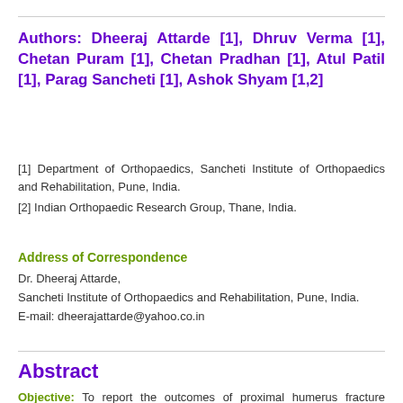Authors: Dheeraj Attarde [1], Dhruv Verma [1], Chetan Puram [1], Chetan Pradhan [1], Atul Patil [1], Parag Sancheti [1], Ashok Shyam [1,2]
[1] Department of Orthopaedics, Sancheti Institute of Orthopaedics and Rehabilitation, Pune, India.
[2] Indian Orthopaedic Research Group, Thane, India.
Address of Correspondence
Dr. Dheeraj Attarde,
Sancheti Institute of Orthopaedics and Rehabilitation, Pune, India.
E-mail: dheerajattarde@yahoo.co.in
Abstract
Objective: To report the outcomes of proximal humerus fracture operated with angular stability locking plate with